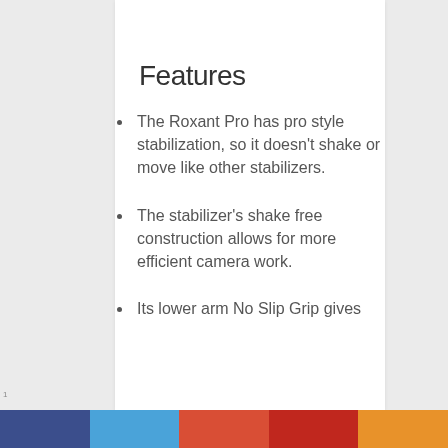Features
The Roxant Pro has pro style stabilization, so it doesn't shake or move like other stabilizers.
The stabilizer's shake free construction allows for more efficient camera work.
Its lower arm No Slip Grip gives